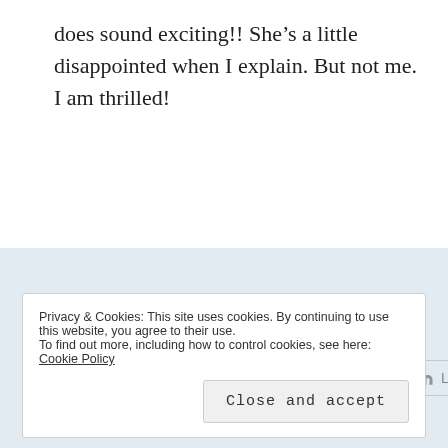does sound exciting!! She’s a little disappointed when I explain. But not me. I am thrilled!
Share this:
Twitter | Facebook | Pinterest | LinkedIn
Privacy & Cookies: This site uses cookies. By continuing to use this website, you agree to their use.
To find out more, including how to control cookies, see here: Cookie Policy
Close and accept